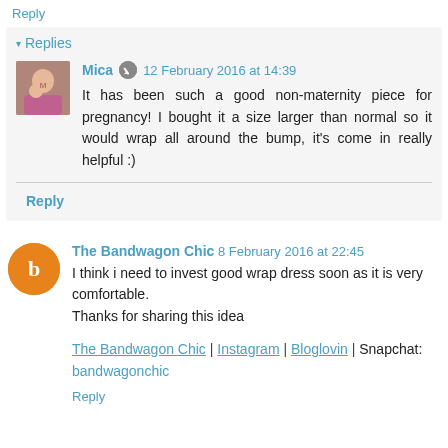Reply
▾ Replies
Mica  12 February 2016 at 14:39
It has been such a good non-maternity piece for pregnancy! I bought it a size larger than normal so it would wrap all around the bump, it's come in really helpful :)
Reply
The Bandwagon Chic  8 February 2016 at 22:45
I think i need to invest good wrap dress soon as it is very comfortable.
Thanks for sharing this idea
The Bandwagon Chic | Instagram | Bloglovin | Snapchat: bandwagonchic
Reply